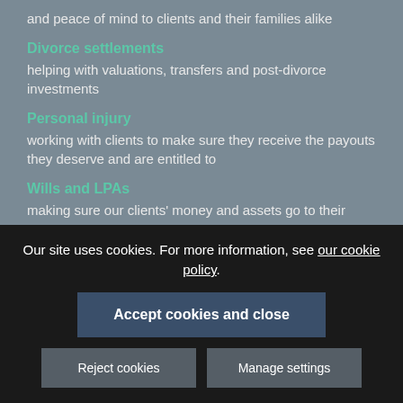and peace of mind to clients and their families alike
Divorce settlements
helping with valuations, transfers and post-divorce investments
Personal injury
working with clients to make sure they receive the payouts they deserve and are entitled to
Wills and LPAs
making sure our clients' money and assets go to their chosen beneficiaries
Our site uses cookies. For more information, see our cookie policy.
Accept cookies and close
Reject cookies
Manage settings